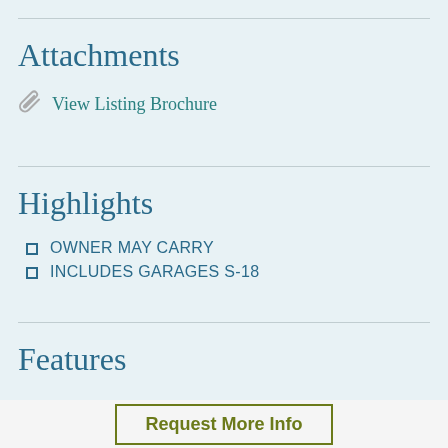Attachments
View Listing Brochure
Highlights
OWNER MAY CARRY
INCLUDES GARAGES S-18
Features
Request More Info